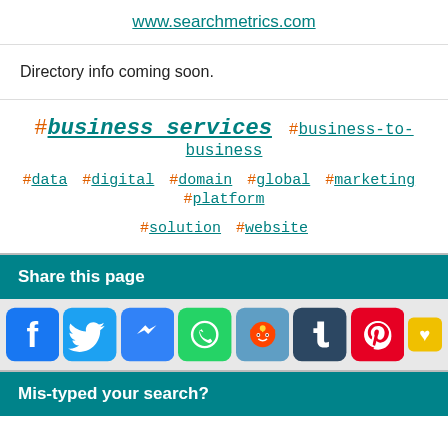www.searchmetrics.com
Directory info coming soon.
#business services #business-to-business #data #digital #domain #global #marketing #platform #solution #website
Share this page
[Figure (other): Social media sharing icons: Facebook, Twitter, Messenger, WhatsApp, Reddit, Tumblr, Pinterest, and one more partially visible]
Mis-typed your search?